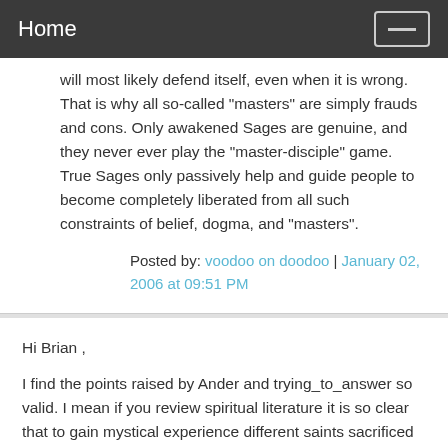Home
will most likely defend itself, even when it is wrong. That is why all so-called "masters" are simply frauds and cons. Only awakened Sages are genuine, and they never ever play the "master-disciple" game. True Sages only passively help and guide people to become completely liberated from all such constraints of belief, dogma, and "masters".
Posted by: voodoo on doodoo | January 02, 2006 at 09:51 PM
Hi Brian ,
I find the points raised by Ander and trying_to_answer so valid. I mean if you review spiritual literature it is so clear that to gain mystical experience different saints sacrificed so much and made so much determined effort. In light of this , it seems futile and hollow to be doing all this debate on a blog about different paths etc, i mean saints did not get realization by doing this stuff. I am sure you know